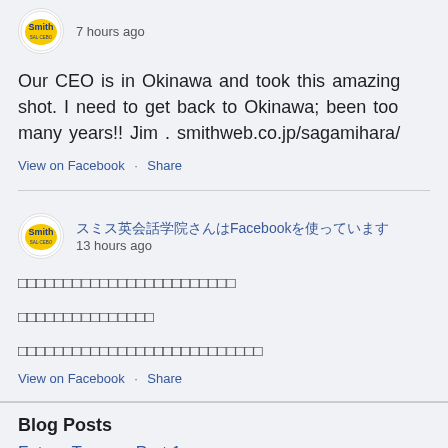[Figure (logo): Smith school circular logo, yellow and blue]
7 hours ago
Our CEO is in Okinawa and took this amazing shot. I need to get back to Okinawa; been too many years!! Jim . smithweb.co.jp/sagamihara/
View on Facebook · Share
[Figure (logo): Smith school circular logo, yellow and blue]
スミス英会話学院さんはFacebookを使っています
13 hours ago
□□□□□□□□□□□□□□□□□□□□□□□□
□□□□□□□□□□□□□□□
□□□□□□□□□□□□□□□□□□□□□□□□□□□
View on Facebook · Share
Blog Posts
Future Tense – Part 1
Four Things that Happen When I Have a Ball in English